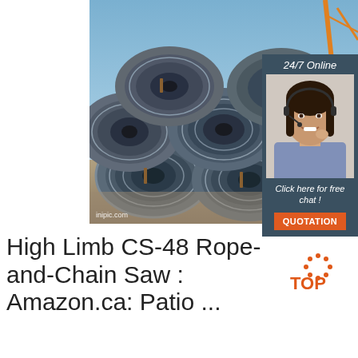[Figure (photo): Stack of steel wire rod coils at a construction site with a crane visible in the background. The coils are large cylindrical rolls of steel wire stacked in rows.]
[Figure (photo): 24/7 Online chat sidebar showing a smiling woman with a headset, text 'Click here for free chat!' and an orange QUOTATION button.]
High Limb CS-48 Rope-and-Chain Saw : Amazon.ca: Patio ...
[Figure (logo): TOP logo with orange dots arranged in a circle pattern above the word TOP in orange text]